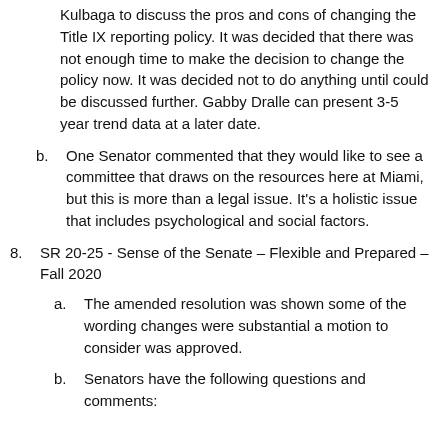Kulbaga to discuss the pros and cons of changing the Title IX reporting policy. It was decided that there was not enough time to make the decision to change the policy now. It was decided not to do anything until could be discussed further. Gabby Dralle can present 3-5 year trend data at a later date.
b. One Senator commented that they would like to see a committee that draws on the resources here at Miami, but this is more than a legal issue. It's a holistic issue that includes psychological and social factors.
8. SR 20-25 - Sense of the Senate – Flexible and Prepared – Fall 2020
a. The amended resolution was shown some of the wording changes were substantial a motion to consider was approved.
b. Senators have the following questions and comments: